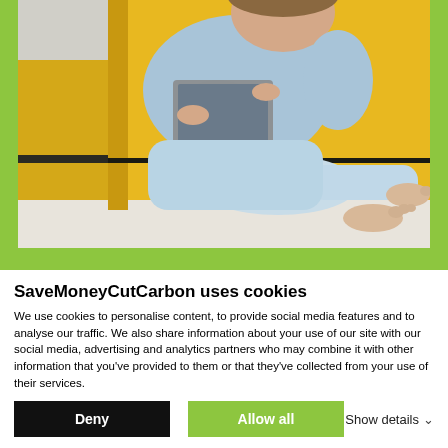[Figure (photo): Woman in light blue sweater and pants sitting on floor against a yellow sofa, using a tablet/laptop, barefoot on a light tile floor.]
SaveMoneyCutCarbon uses cookies
We use cookies to personalise content, to provide social media features and to analyse our traffic. We also share information about your use of our site with our social media, advertising and analytics partners who may combine it with other information that you've provided to them or that they've collected from your use of their services.
Deny   Allow all   Show details